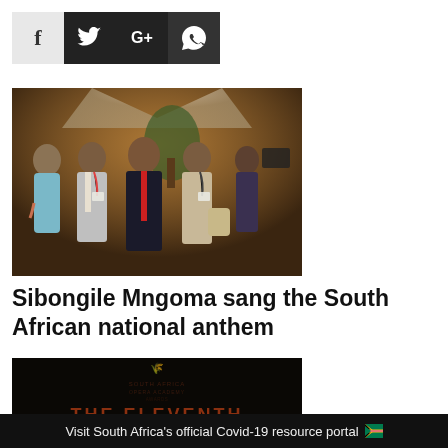[Figure (other): Social media sharing icons: Facebook (f), Twitter (bird), Google+ (G+), WhatsApp (phone)]
[Figure (photo): Group photo of four people at an outdoor evening event; a woman on the left in a light blue floral jacket, two men in suits with lanyards/badges (center man wearing a red tie), and a woman on the right in a beige blazer.]
Sibongile Mngoma sang the South African national anthem
[Figure (photo): Dark image with faint text and logo, showing the beginning of 'THE ELEVENTH' text at the bottom on a dark background.]
Visit South Africa's official Covid-19 resource portal